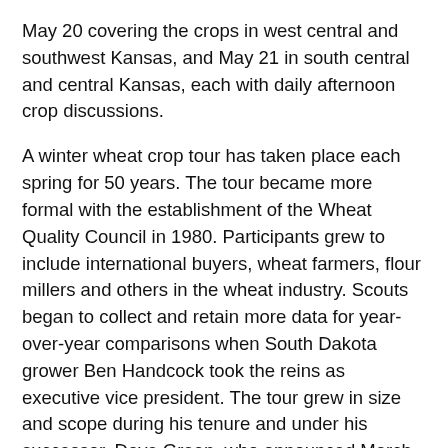May 20 covering the crops in west central and southwest Kansas, and May 21 in south central and central Kansas, each with daily afternoon crop discussions.
A winter wheat crop tour has taken place each spring for 50 years. The tour became more formal with the establishment of the Wheat Quality Council in 1980. Participants grew to include international buyers, wheat farmers, flour millers and others in the wheat industry. Scouts began to collect and retain more data for year-over-year comparisons when South Dakota grower Ben Handcock took the reins as executive vice president. The tour grew in size and scope during his tenure and under his successor, Dave Green, who announced March 31 that the 2020 tour was forced to cancel due to COVID-19.
Scheduled speakers for the upcoming virtual event include tour mainstays Romulo Lollato, wheat and forages production specialist with Kansas State University, and Jeanne Falk Jones, multi-county specialist at the K-State Northwest Research...